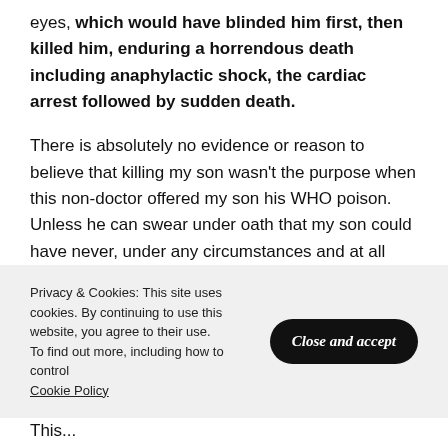eyes, which would have blinded him first, then killed him, enduring a horrendous death including anaphylactic shock, the cardiac arrest followed by sudden death.
There is absolutely no evidence or reason to believe that killing my son wasn't the purpose when this non-doctor offered my son his WHO poison. Unless he can swear under oath that my son could have never, under any circumstances and at all suffered any of the side effects that are listed in the
Privacy & Cookies: This site uses cookies. By continuing to use this website, you agree to their use.
To find out more, including how to control
Cookie Policy
Close and accept
This...